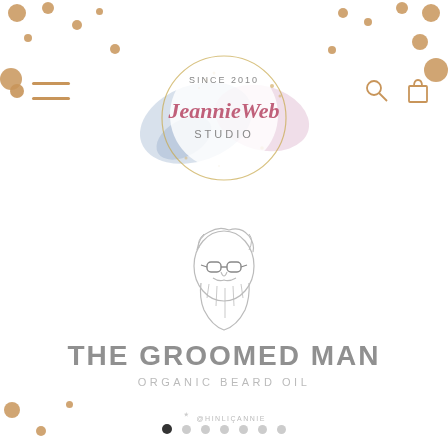[Figure (logo): JeannieWeb Studio watercolor logo with gold circle, pink and blue watercolor splashes, text 'SINCE 2010', 'JeannieWeb', 'STUDIO']
[Figure (illustration): Line drawing of a bearded man with glasses and styled hair, representing 'The Groomed Man' brand]
THE GROOMED MAN
ORGANIC BEARD OIL
@hinliçannie
[Figure (other): Pagination dots: 7 dots with first one filled/active]